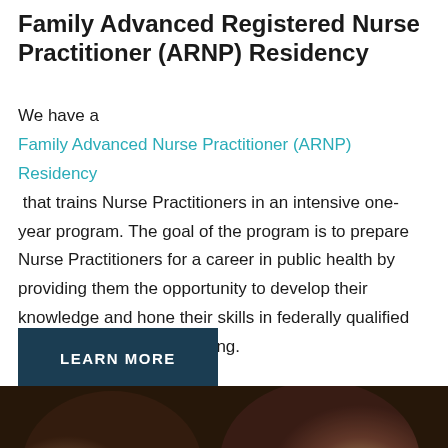Family Advanced Registered Nurse Practitioner (ARNP) Residency
We have a Family Advanced Nurse Practitioner (ARNP) Residency that trains Nurse Practitioners in an intensive one-year program. The goal of the program is to prepare Nurse Practitioners for a career in public health by providing them the opportunity to develop their knowledge and hone their skills in federally qualified health center (FQHC) setting.
LEARN MORE
[Figure (photo): Bottom portion of a photograph showing people, partially cropped]